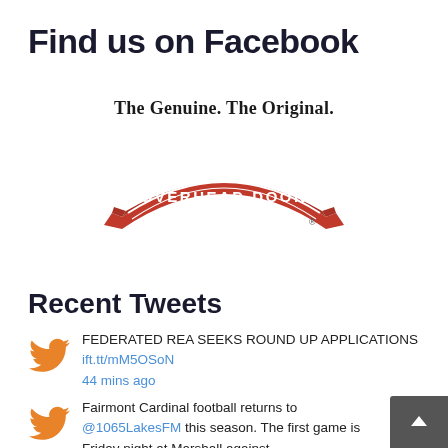Find us on Facebook
[Figure (logo): Overhead Door logo - red banner with white text 'OVERHEAD DOOR' in an arc shape, with tagline 'The Genuine. The Original.' above]
Recent Tweets
FEDERATED REA SEEKS ROUND UP APPLICATIONS ift.tt/mM5OSoN 44 mins ago
Fairmont Cardinal football returns to @1065LakesFM this season. The first game is Friday night at Marshall against... twitter.com/i/web/status/1...